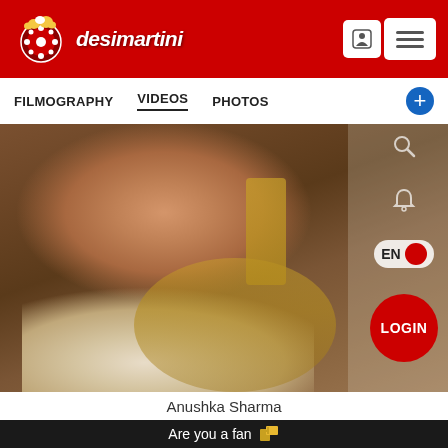[Figure (logo): Desimartini website logo - red background with film reel icon and 'desimartini' text in white italic]
FILMOGRAPHY   VIDEOS   PHOTOS
[Figure (photo): Photo of Anushka Sharma smiling, wearing gold jewelry - long earrings and layered necklace, dressed in white embroidered outfit, hand near chin pose]
Anushka Sharma
Are you a fan